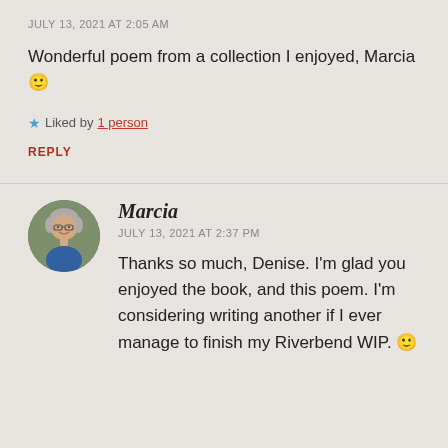JULY 13, 2021 AT 2:05 AM
Wonderful poem from a collection I enjoyed, Marcia 🙂
★ Liked by 1 person
REPLY
[Figure (photo): Circular avatar photo of Marcia, a woman with gray hair and glasses, smiling, outdoors with green foliage background]
Marcia
JULY 13, 2021 AT 2:37 PM
Thanks so much, Denise. I'm glad you enjoyed the book, and this poem. I'm considering writing another if I ever manage to finish my Riverbend WIP. 🙂